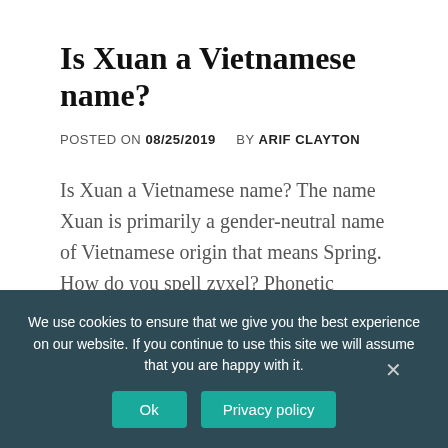Is Xuan a Vietnamese name?
POSTED ON 08/25/2019   BY ARIF CLAYTON
Is Xuan a Vietnamese name? The name Xuan is primarily a gender-neutral name of Vietnamese origin that means Spring. How do you spell zyxel? Phonetic
CONTINUE READING
We use cookies to ensure that we give you the best experience on our website. If you continue to use this site we will assume that you are happy with it.
Ok
Privacy policy